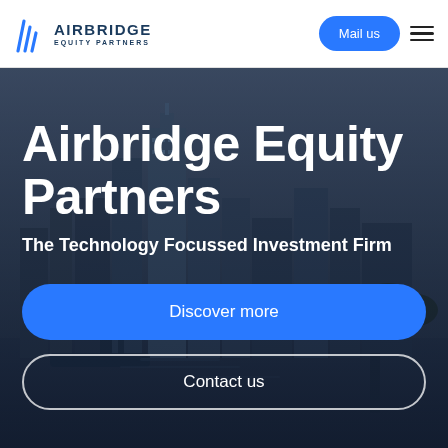Airbridge Equity Partners — Mail us
Airbridge Equity Partners
The Technology Focussed Investment Firm
Discover more
Contact us